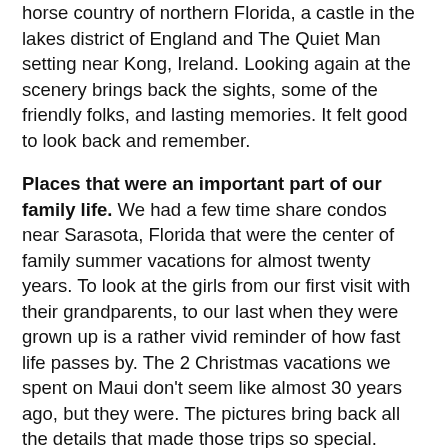horse country of northern Florida, a castle in the lakes district of England and The Quiet Man setting near Kong, Ireland. Looking again at the scenery brings back the sights, some of the friendly folks, and lasting memories. It felt good to look back and remember.
Places that were an important part of our family life. We had a few time share condos near Sarasota, Florida that were the center of family summer vacations for almost twenty years. To look at the girls from our first visit with their grandparents, to our last when they were grown up is a rather vivid reminder of how fast life passes by. The 2 Christmas vacations we spent on Maui don't seem like almost 30 years ago, but they were. The pictures bring back all the details that made those trips so special. There is some sadness in the process, but overwhelming pleasure at seeing the joy on those young faces again.
How fast time goes. When were my wife and I ever that young? Why did I wear my hair in that silly, uncombed mop? Whatever happened to all the people in those photos that left our life when we moved? Is that renovation we made to